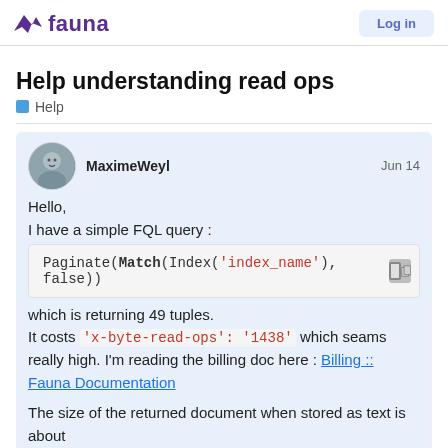fauna | Login
Help understanding read ops
Help
MaximeWeyl  Jun 14
Hello,
I have a simple FQL query :
which is returning 49 tuples.
It costs 'x-byte-read-ops': '1438' which seams really high. I'm reading the billing doc here : Billing :: Fauna Documentation

The size of the returned document when stored as text is about